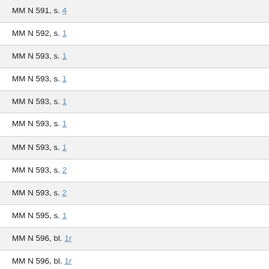MM N 591, s. 4
MM N 592, s. 1
MM N 593, s. 1
MM N 593, s. 1
MM N 593, s. 1
MM N 593, s. 1
MM N 593, s. 1
MM N 593, s. 2
MM N 593, s. 2
MM N 595, s. 1
MM N 596, bl. 1r
MM N 596, bl. 1r
MM N 597, s. 1
MM N 600, s. 1
MM N 600, s. 3
MM N 601, bl. 1r